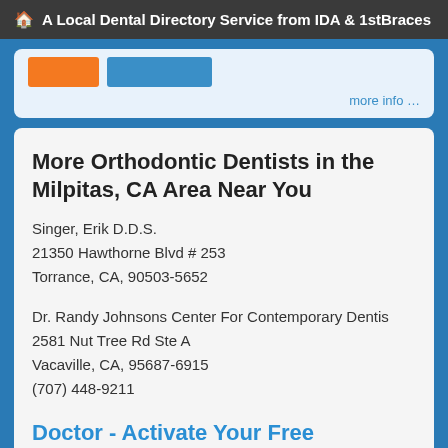A Local Dental Directory Service from IDA & 1stBraces
[Figure (screenshot): Partial view of orange and blue buttons with 'more info ...' link on a light blue card background]
More Orthodontic Dentists in the Milpitas, CA Area Near You
Singer, Erik D.D.S.
21350 Hawthorne Blvd # 253
Torrance, CA, 90503-5652
Dr. Randy Johnsons Center For Contemporary Dentis
2581 Nut Tree Rd Ste A
Vacaville, CA, 95687-6915
(707) 448-9211
Doctor - Activate Your Free 1stBraces Directory Listing